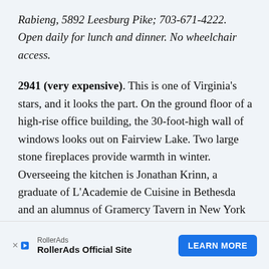Rabieng, 5892 Leesburg Pike; 703-671-4222. Open daily for lunch and dinner. No wheelchair access.
2941 (very expensive). This is one of Virginia's stars, and it looks the part. On the ground floor of a high-rise office building, the 30-foot-high wall of windows looks out on Fairview Lake. Two large stone fireplaces provide warmth in winter. Overseeing the kitchen is Jonathan Krinn, a graduate of L'Academie de Cuisine in Bethesda and an alumnus of Gramercy Tavern in New York City. Making the place a family affair is Krinn's father, a retired
[Figure (other): RollerAds advertisement banner with logo, site name 'RollerAds Official Site', and 'LEARN MORE' button]